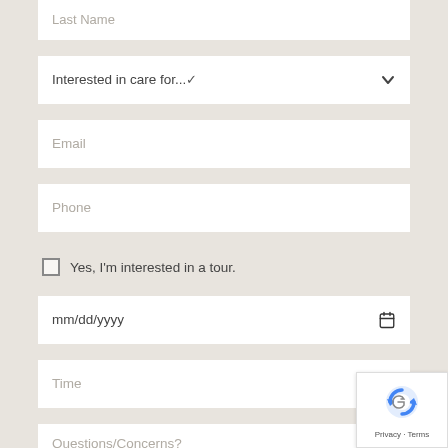Last Name
Interested in care for...
Email
Phone
Yes, I'm interested in a tour.
mm/dd/yyyy
Time
Questions/Concerns?
[Figure (logo): reCAPTCHA badge with Google logo and Privacy/Terms text]